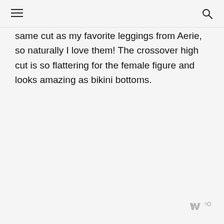same cut as my favorite leggings from Aerie, so naturally I love them! The crossover high cut is so flattering for the female figure and looks amazing as bikini bottoms.
[Figure (logo): Watermark logo in bottom right corner, gray stylized 'W' with degree symbol]